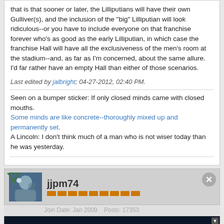that is that sooner or later, the Lilliputians will have their own Gulliver(s), and the inclusion of the "big" Lilliputian will look ridiculous--or you have to include everyone on that franchise forever who's as good as the early Lilliputian, in which case the franchise Hall will have all the exclusiveness of the men's room at the stadium--and, as far as I'm concerned, about the same allure. I'd far rather have an empty Hall than either of those scenarios.
Last edited by jalbright; 04-27-2012, 02:40 PM.
Seen on a bumper sticker: If only closed minds came with closed mouths.
Some minds are like concrete--thoroughly mixed up and permanently set.
A Lincoln: I don't think much of a man who is not wiser today than he was yesterday.
jjpm74
Join Date: Jan 2009   Posts: 17353
[Figure (screenshot): Disney Bundle advertisement banner with Hulu, Disney+, ESPN+ logos and GET THE DISNEY BUNDLE CTA button]
04-27-2012, 02:38 PM